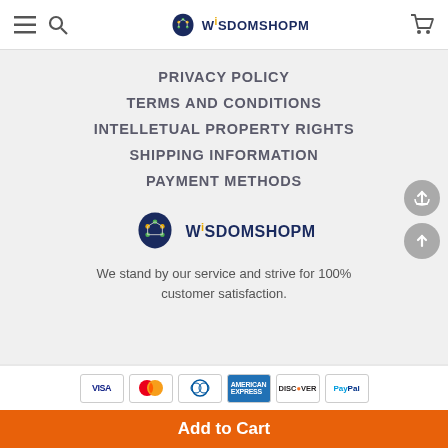WisdomShopM header navigation
PRIVACY POLICY
TERMS AND CONDITIONS
INTELLETUAL PROPERTY RIGHTS
SHIPPING INFORMATION
PAYMENT METHODS
[Figure (logo): WisdomShopM logo with brain/head icon and colorful dots]
We stand by our service and strive for 100% customer satisfaction.
[Figure (infographic): Payment method badges: VISA, Mastercard, Diners Club, American Express, Discover, PayPal]
Add to Cart